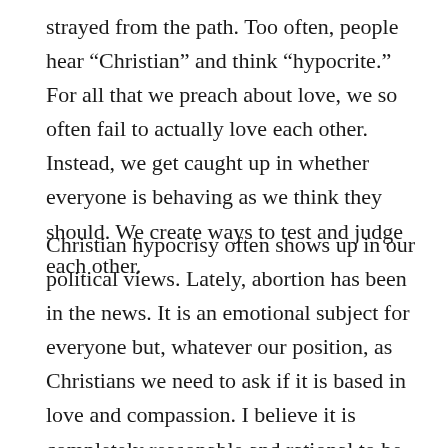strayed from the path. Too often, people hear “Christian” and think “hypocrite.” For all that we preach about love, we so often fail to actually love each other. Instead, we get caught up in whether everyone is behaving as we think they should. We create ways to test and judge each other.
Christian hypocrisy often shows up in our political views. Lately, abortion has been in the news. It is an emotional subject for everyone but, whatever our position, as Christians we need to ask if it is based in love and compassion. I believe it is completely reasonable and rational to be both “pro-choice” and “pro-life.” However, the real point I want to make is that if we proclaim as Christians we are pro-life (and I